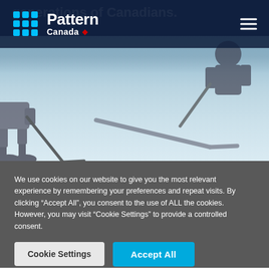[Figure (screenshot): Pattern Canada website hero section with hockey ice rink background, showing hockey players on ice with blurred effect. Dark navy header bar with Pattern Canada logo (grid icon + text with red maple leaf accent) and hamburger menu icon. Faded text 'generations of Canadians.' visible in background.]
We use cookies on our website to give you the most relevant experience by remembering your preferences and repeat visits. By clicking “Accept All”, you consent to the use of ALL the cookies. However, you may visit “Cookie Settings” to provide a controlled consent.
Cookie Settings
Accept All